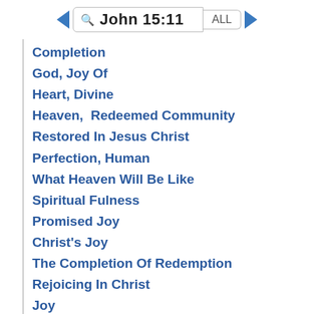John 15:11
Completion
God, Joy Of
Heart, Divine
Heaven,  Redeemed Community
Restored In Jesus Christ
Perfection, Human
What Heaven Will Be Like
Spiritual Fulness
Promised Joy
Christ's Joy
The Completion Of Redemption
Rejoicing In Christ
Joy
Reciprocity
Joy And Happiness
joyful
fulfillment
joyfulness